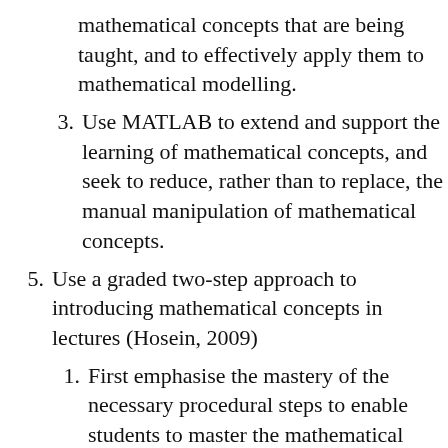(continuation) mathematical concepts that are being taught, and to effectively apply them to mathematical modelling.
3. Use MATLAB to extend and support the learning of mathematical concepts, and seek to reduce, rather than to replace, the manual manipulation of mathematical concepts.
5. Use a graded two-step approach to introducing mathematical concepts in lectures (Hosein, 2009)
1. First emphasise the mastery of the necessary procedural steps to enable students to master the mathematical concepts and to enable them to think